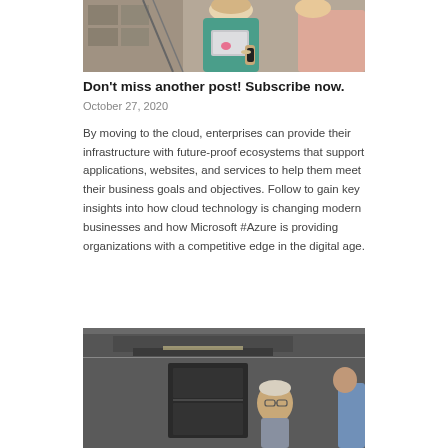[Figure (photo): Two women, one in a teal/green jacket holding a laptop, the other in a pink top, standing in a warehouse or industrial setting]
Don't miss another post! Subscribe now.
October 27, 2020
By moving to the cloud, enterprises can provide their infrastructure with future-proof ecosystems that support applications, websites, and services to help them meet their business goals and objectives. Follow to gain key insights into how cloud technology is changing modern businesses and how Microsoft #Azure is providing organizations with a competitive edge in the digital age.
[Figure (photo): Black and white photo of a man with glasses looking up at a modern building exterior with geometric architectural elements]